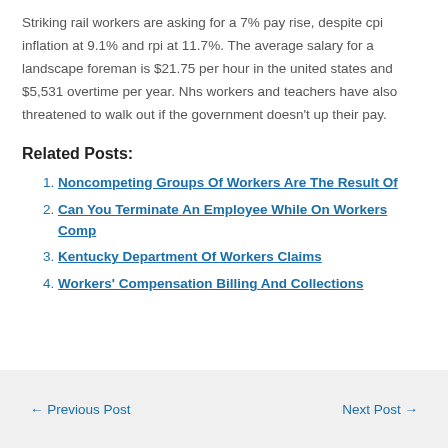Striking rail workers are asking for a 7% pay rise, despite cpi inflation at 9.1% and rpi at 11.7%. The average salary for a landscape foreman is $21.75 per hour in the united states and $5,531 overtime per year. Nhs workers and teachers have also threatened to walk out if the government doesn't up their pay.
Related Posts:
Noncompeting Groups Of Workers Are The Result Of
Can You Terminate An Employee While On Workers Comp
Kentucky Department Of Workers Claims
Workers' Compensation Billing And Collections
← Previous Post   Next Post →